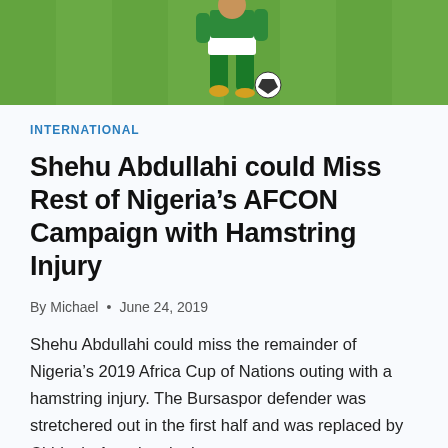[Figure (photo): Soccer/football player in green Nigeria kit kicking a ball on a grass field, cropped to show lower body and legs]
INTERNATIONAL
Shehu Abdullahi could Miss Rest of Nigeria's AFCON Campaign with Hamstring Injury
By Michael • June 24, 2019
Shehu Abdullahi could miss the remainder of Nigeria's 2019 Africa Cup of Nations outing with a hamstring injury. The Bursaspor defender was stretchered out in the first half and was replaced by Chidozie Awaziem in the